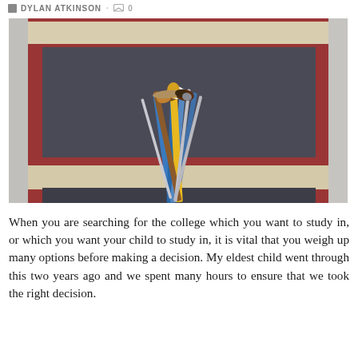DYLAN ATKINSON · 0
[Figure (photo): A bunch of artist paintbrushes with colorful handles (blue, yellow, brown) standing upright, photographed against a dark abstract painting background with dark gray center and red/brown borders with cream/white horizontal bands.]
When you are searching for the college which you want to study in, or which you want your child to study in, it is vital that you weigh up many options before making a decision. My eldest child went through this two years ago and we spent many hours to ensure that we took the right decision.